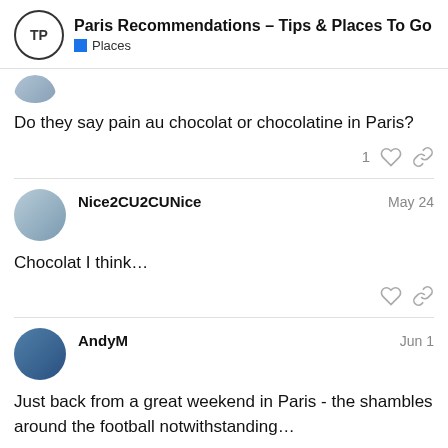Paris Recommendations – Tips & Places To Go | Places
Do they say pain au chocolat or chocolatine in Paris?
Nice2CU2CUNice  May 24
Chocolat I think…
AndyM  Jun 1
Just back from a great weekend in Paris - the shambles around the football notwithstanding…